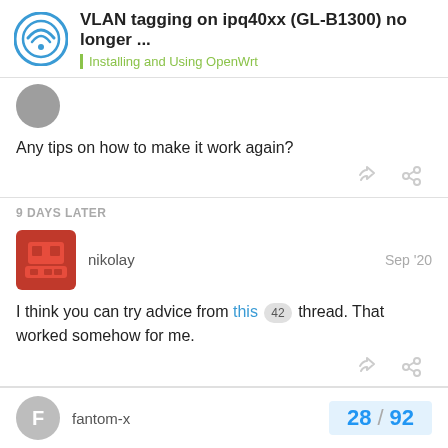VLAN tagging on ipq40xx (GL-B1300) no longer ... | Installing and Using OpenWrt
Any tips on how to make it work again?
9 DAYS LATER
nikolay  Sep '20
I think you can try advice from this 42 thread. That worked somehow for me.
fantom-x  28 / 92